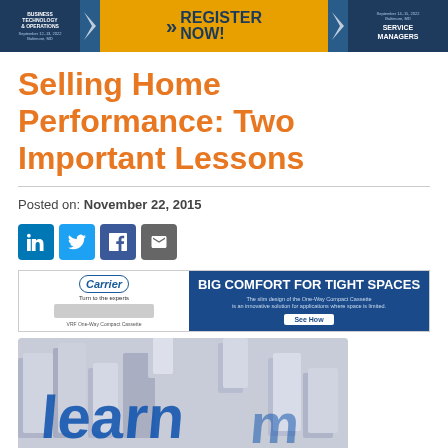[Figure (infographic): Banner advertisement strip with business technology/operations and service managers conference sections on sides, and 'Register Now!' in center orange section]
Selling Home Performance: Two Important Lessons
Posted on: November 22, 2015
[Figure (infographic): Social share buttons: LinkedIn (blue), Twitter (light blue), Facebook (dark blue), Email (gray)]
[Figure (infographic): Carrier advertisement banner: 'BIG COMFORT FOR TIGHT SPACES' - The slim design of the One-Way Compact Cassette is an innovative solution for applications where space is limited. See How.]
[Figure (photo): 3D render image of the word 'learn' in blue letters among white 3D letter blocks]